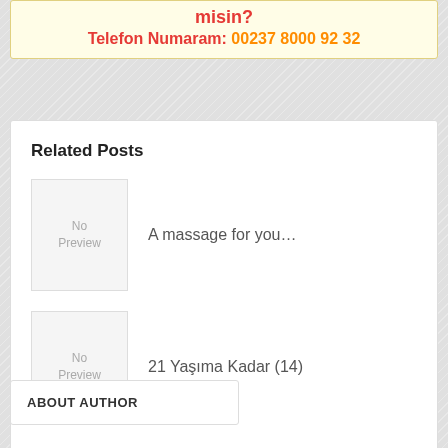misin?
Telefon Numaram: 00237 8000 92 32
Related Posts
A massage for you…
21 Yaşıma Kadar (14)
ABOUT AUTHOR